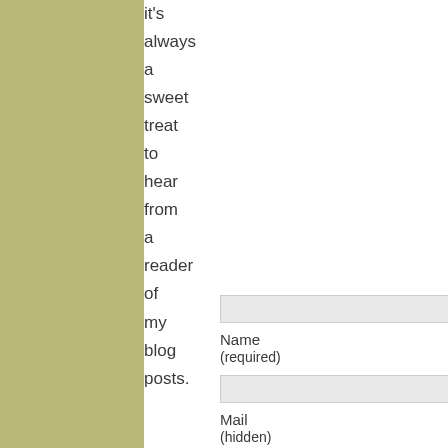it's always a sweet treat to hear from a reader of my blog posts.
Name (required)
Mail (hidden)